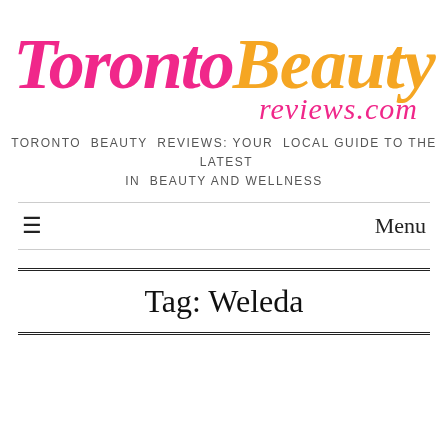[Figure (logo): Toronto Beauty Reviews logo with 'Toronto' in pink italic serif and 'Beauty' in orange italic serif, with 'reviews.com' in pink italic below]
TORONTO BEAUTY REVIEWS: YOUR LOCAL GUIDE TO THE LATEST IN BEAUTY AND WELLNESS
Menu
Tag: Weleda